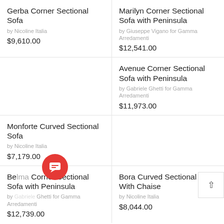Gerba Corner Sectional Sofa
by Nicoline Italia
$9,610.00
Marilyn Corner Sectional Sofa with Peninsula
by Giuseppe Vigano for Gamma Arredamenti
$12,541.00
Avenue Corner Sectional Sofa with Peninsula
by Gabriele Ghetti for Gamma Arredamenti
$11,973.00
Monforte Curved Sectional Sofa
by Nicoline Italia
$7,179.00
Belma Corner Sectional Sofa with Peninsula
by Gabriele Ghetti for Gamma Arredamenti
$12,739.00
Bora Curved Sectional Sofa With Chaise
by Nicoline Italia
$8,044.00